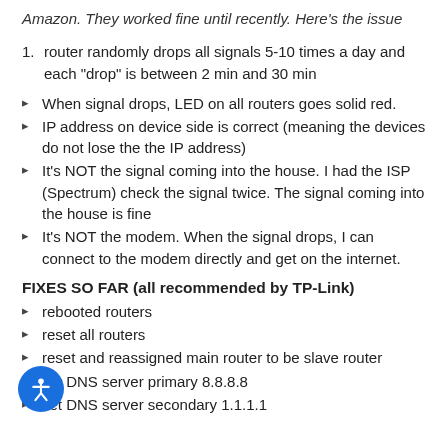Amazon. They worked fine until recently. Here's the issue
router randomly drops all signals 5-10 times a day and each "drop" is between 2 min and 30 min
When signal drops, LED on all routers goes solid red.
IP address on device side is correct (meaning the devices do not lose the the IP address)
It's NOT the signal coming into the house. I had the ISP (Spectrum) check the signal twice. The signal coming into the house is fine
It's NOT the modem. When the signal drops, I can connect to the modem directly and get on the internet.
FIXES SO FAR (all recommended by TP-Link)
rebooted routers
reset all routers
reset and reassigned main router to be slave router
set DNS server primary 8.8.8.8
set DNS server secondary 1.1.1.1